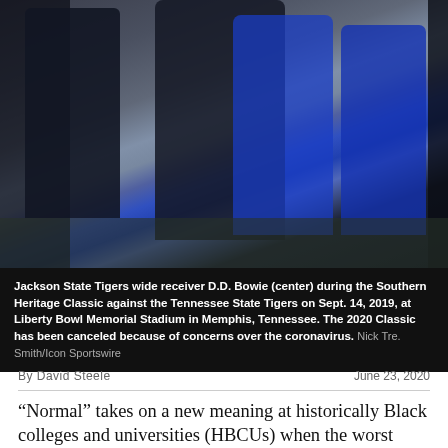[Figure (photo): Football game photo: Jackson State Tigers wide receiver D.D. Bowie (center) during the Southern Heritage Classic against the Tennessee State Tigers on Sept. 14, 2019, at Liberty Bowl Memorial Stadium in Memphis, Tennessee.]
Jackson State Tigers wide receiver D.D. Bowie (center) during the Southern Heritage Classic against the Tennessee State Tigers on Sept. 14, 2019, at Liberty Bowl Memorial Stadium in Memphis, Tennessee. The 2020 Classic has been canceled because of concerns over the coronavirus. Nick Tre. Smith/Icon Sportswire
By David Steele
June 23, 2020
“Normal” takes on a new meaning at historically Black colleges and universities (HBCUs) when the worst health crisis in 100 years strikes the country. The same goes when the nation suddenly is thrust into the most